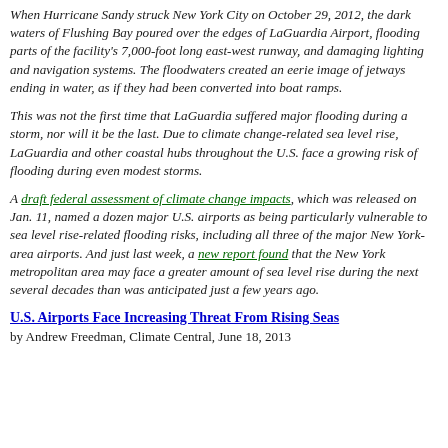When Hurricane Sandy struck New York City on October 29, 2012, the dark waters of Flushing Bay poured over the edges of LaGuardia Airport, flooding parts of the facility's 7,000-foot long east-west runway, and damaging lighting and navigation systems. The floodwaters created an eerie image of jetways ending in water, as if they had been converted into boat ramps.
This was not the first time that LaGuardia suffered major flooding during a storm, nor will it be the last. Due to climate change-related sea level rise, LaGuardia and other coastal hubs throughout the U.S. face a growing risk of flooding during even modest storms.
A draft federal assessment of climate change impacts, which was released on Jan. 11, named a dozen major U.S. airports as being particularly vulnerable to sea level rise-related flooding risks, including all three of the major New York-area airports. And just last week, a new report found that the New York metropolitan area may face a greater amount of sea level rise during the next several decades than was anticipated just a few years ago.
U.S. Airports Face Increasing Threat From Rising Seas
by Andrew Freedman, Climate Central, June 18, 2013